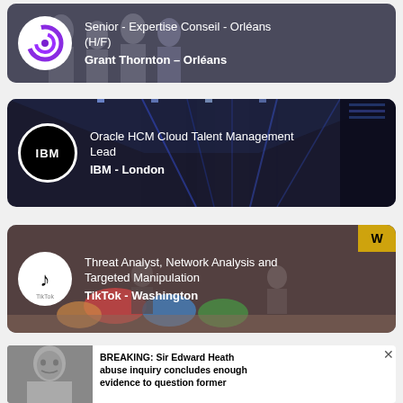[Figure (screenshot): Job listing card: Senior - Expertise Conseil - Orléans (H/F) at Grant Thornton - Orléans, with Grant Thornton logo and group photo background]
[Figure (screenshot): Job listing card: Oracle HCM Cloud Talent Management Lead at IBM - London, with IBM logo and server corridor background]
[Figure (screenshot): Job listing card: Threat Analyst, Network Analysis and Targeted Manipulation at TikTok - Washington, with TikTok logo and office/lounge background]
[Figure (screenshot): News breaking story card: BREAKING: Sir Edward Heath abuse inquiry concludes enough evidence to question former..., with black and white photo of elderly man]